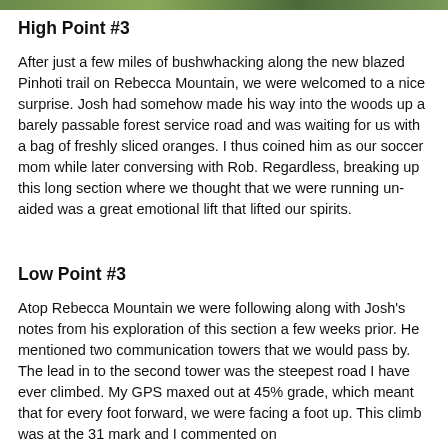[Figure (photo): Partial photo strip visible at the top of the page, showing green/outdoor scenery]
High Point #3
After just a few miles of bushwhacking along the new blazed Pinhoti trail on Rebecca Mountain, we were welcomed to a nice surprise. Josh had somehow made his way into the woods up a barely passable forest service road and was waiting for us with a bag of freshly sliced oranges. I thus coined him as our soccer mom while later conversing with Rob. Regardless, breaking up this long section where we thought that we were running un-aided was a great emotional lift that lifted our spirits.
Low Point #3
Atop Rebecca Mountain we were following along with Josh's notes from his exploration of this section a few weeks prior. He mentioned two communication towers that we would pass by. The lead in to the second tower was the steepest road I have ever climbed. My GPS maxed out at 45% grade, which meant that for every foot forward, we were facing a foot up. This climb was at the 31 mark and I commented on